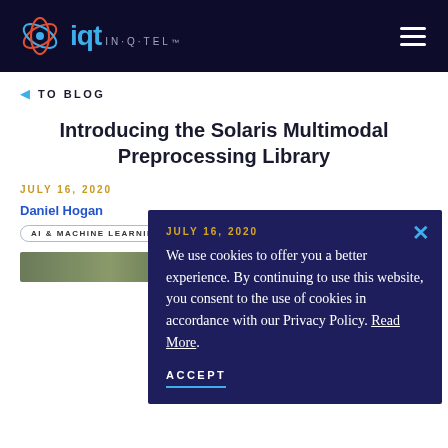IQT IN-Q-TEL
TO BLOG
Introducing the Solaris Multimodal Preprocessing Library
JULY 16, 2020
Daniel Hogan
AI & MACHINE LEARNING | ANALYTICS
[Figure (screenshot): Cookie consent popup overlay with dark navy background reading: We use cookies to offer you a better experience. By continuing to use this website, you consent to the use of cookies in accordance with our Privacy Policy. Read More. With ACCEPT button.]
[Figure (photo): Partial nature/landscape image visible behind popup at bottom left]